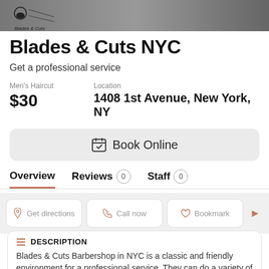[Figure (logo): Blades & Cuts barbershop logo with beard and scissors icon]
Blades & Cuts NYC
Get a professional service
Men's Haircut
$30
Location
1408 1st Avenue, New York, NY
Book Online
Overview   Reviews 0   Staff 0
Get directions   Call now   Bookmark
DESCRIPTION
Blades & Cuts Barbershop in NYC is a classic and friendly environment for a professional service. They can do a variety of